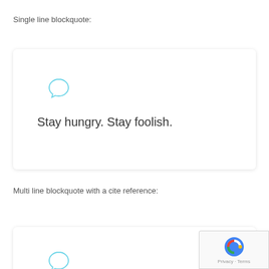Single line blockquote:
[Figure (illustration): A white rounded card with a speech bubble icon and the quote text 'Stay hungry. Stay foolish.']
Multi line blockquote with a cite reference:
[Figure (illustration): A white rounded card (partially visible) with a speech bubble icon, beginning of multi-line blockquote section]